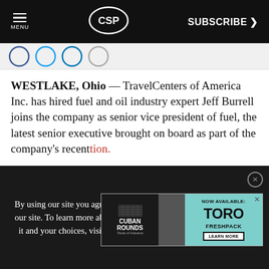MENU | CSP | SUBSCRIBE >
[Figure (screenshot): Social media icons strip (partially visible circular icons in blue and gray)]
WESTLAKE, Ohio — TravelCenters of America Inc. has hired fuel and oil industry expert Jeff Burrell joins the company as senior vice president of fuel, the latest senior executive brought on board as part of the company's recent [obscured] tion.
[Figure (screenshot): Advertisement for Toro Freshpack cigars (Cuban Rounds brand). NOW AVAILABLE: TORO FRESHPACK with LEARN MORE button.]
By using our site you agree to our Privacy Policy. We use cookies on our site. To learn more about the information we collect, how we use it and your choices, visit the cookies section of our Privacy Policy.